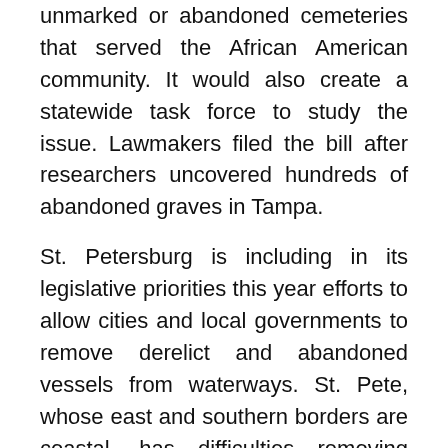unmarked or abandoned cemeteries that served the African American community. It would also create a statewide task force to study the issue. Lawmakers filed the bill after researchers uncovered hundreds of abandoned graves in Tampa.
St. Petersburg is including in its legislative priorities this year efforts to allow cities and local governments to remove derelict and abandoned vessels from waterways. St. Pete, whose east and southern borders are coastal, has difficulties removing such vessels because the burden to work with or identify potential owners is cumbersome. The city's request would allow it to remove abandoned boats where it is clear an owner is not planning to